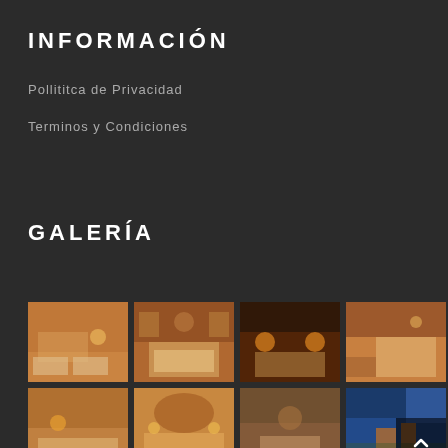INFORMACIÓN
Pollititca de Privacidad
Terminos y Condiciones
GALERÍA
[Figure (photo): Gallery of hotel room photos arranged in a 4x2 grid on a dark background. Eight photos showing warm-lit hotel rooms with beds and wooden/rustic decor, plus one exterior city view photo.]